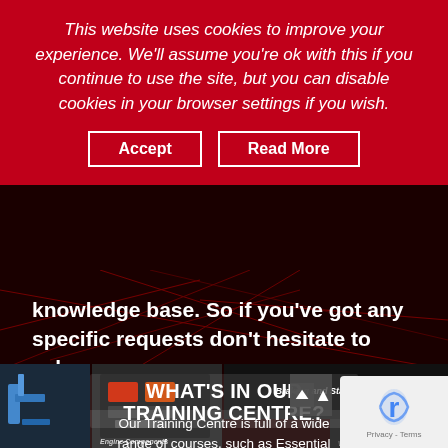This website uses cookies to improve your experience. We'll assume you're ok with this if you continue to use the site, but you can disable cookies in your browser settings if you wish.
Accept | Read More
knowledge base. So if you've got any specific requests don't hesitate to ask.
[Figure (photo): Dark background showing automotive training images in a grid: car engine components, braking and stability systems, wheels and tyres]
WHAT'S IN OUR TRAINING CENTRE?
Our Training Centre is full of a wide range of courses, such as Essential Electrics, Engine Management, Hybrid Technology, and more. We're also adding new courses all the time. Click here to see an up-to-date list of the